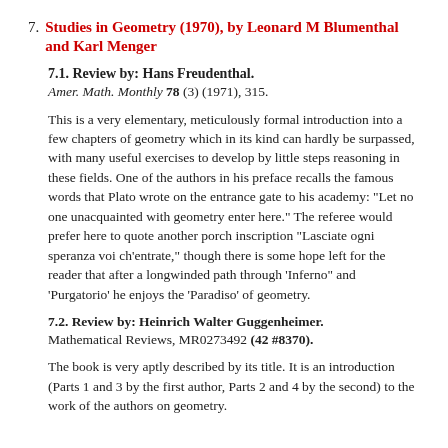7. Studies in Geometry (1970), by Leonard M Blumenthal and Karl Menger
7.1. Review by: Hans Freudenthal.
Amer. Math. Monthly 78 (3) (1971), 315.
This is a very elementary, meticulously formal introduction into a few chapters of geometry which in its kind can hardly be surpassed, with many useful exercises to develop by little steps reasoning in these fields. One of the authors in his preface recalls the famous words that Plato wrote on the entrance gate to his academy: "Let no one unacquainted with geometry enter here." The referee would prefer here to quote another porch inscription "Lasciate ogni speranza voi ch'entrate," though there is some hope left for the reader that after a longwinded path through 'Inferno" and 'Purgatorio' he enjoys the 'Paradiso' of geometry.
7.2. Review by: Heinrich Walter Guggenheimer.
Mathematical Reviews, MR0273492 (42 #8370).
The book is very aptly described by its title. It is an introduction (Parts 1 and 3 by the first author, Parts 2 and 4 by the second) to the work of the authors on geometry.